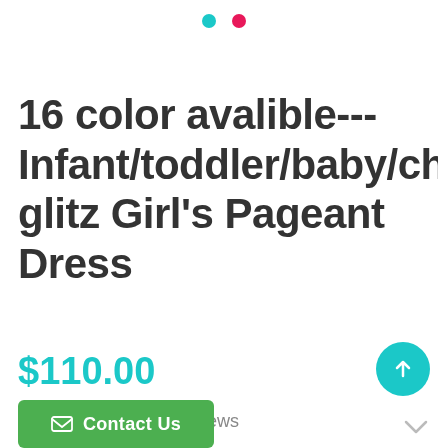[Figure (other): Two navigation dots: one teal and one pink/magenta, indicating a carousel or slideshow position indicator]
16 color avalible---Infant/toddler/baby/chi glitz Girl's Pageant Dress
$110.00
☆☆☆☆☆ No reviews
[Figure (other): Teal circular scroll-to-top button with an upward arrow icon]
[Figure (other): Green Contact Us button with envelope icon]